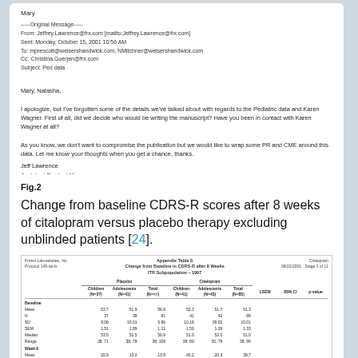Mary
-----Original Message-----
From: Jeffrey.Lawrence@frx.com [mailto:Jeffrey.Lawrence@frx.com]
Sent: Monday, October 15, 2001 10:56 AM
To: mprescott@weisershandwick.com; NMitchner@weisershandwick.com
Cc: Christina.Goerjen@frx.com
Subject: Ped data
Mary, Natasha,

I apologize, but I've forgotten some of the details we've talked about with regards to the Pediatric data and Karen Wagner. First of all, did we decide who would be writing the manuscript? Have you been in contact with Karen Wagner at all?

As you know, we don't want to compromise the publication but we would like to wrap some PR and CME around this data. Let me know your thoughts when you get a chance, thanks.
Jeff Lawrence
Assistant Product Manager
Forest Laboratories
(212) 224-6845
jeffrey.lawrence@frx.com
Fig.2
Change from baseline CDRS-R scores after 8 weeks of citalopram versus placebo therapy excluding unblinded patients [24].
[Figure (table-as-image): Forest Laboratories Inc. table showing change from baseline in CDRS-R scores at 8 weeks, ITT subpopulation 1997, with columns for Placebo (Children, Adolescents, Total) and Citalopram (Children, Adolescents, Total), plus LSEM, 95% CI, and p-value. Sections for Baseline and Week 8 statistics including Mean, N, SD, SEM, Median, Range.]